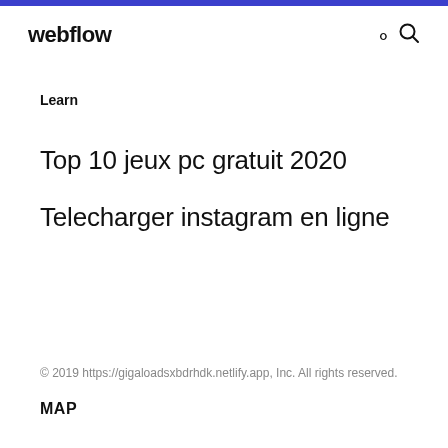webflow
Learn
Top 10 jeux pc gratuit 2020
Telecharger instagram en ligne
© 2019 https://gigaloadsxbdrhdk.netlify.app, Inc. All rights reserved.
MAP